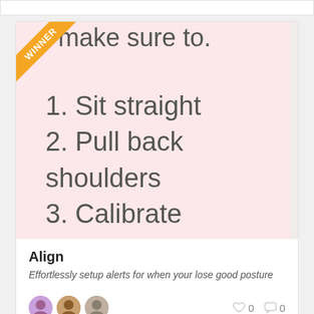[Figure (screenshot): Pink card with WINNER ribbon badge in top-left corner. Partially visible header text 'make sure to.' at top. Numbered list: 1. Sit straight, 2. Pull back shoulders, 3. Calibrate. Scroll bar on right side.]
Align
Effortlessly setup alerts for when your lose good posture